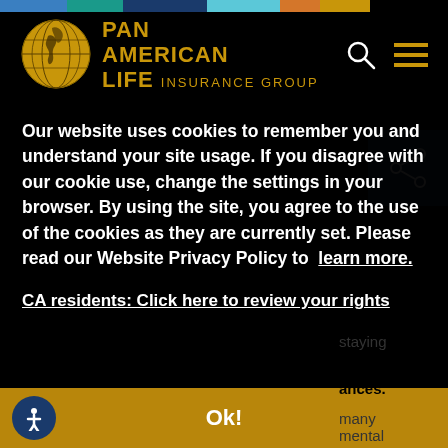[Figure (logo): Pan American Life Insurance Group logo with globe icon and gold/white text]
Our website uses cookies to remember you and understand your site usage. If you disagree with our cookie use, change the settings in your browser. By using the site, you agree to the use of the cookies as they are currently set. Please read our Website Privacy Policy to learn more.
CA residents: Click here to review your rights
Ok!